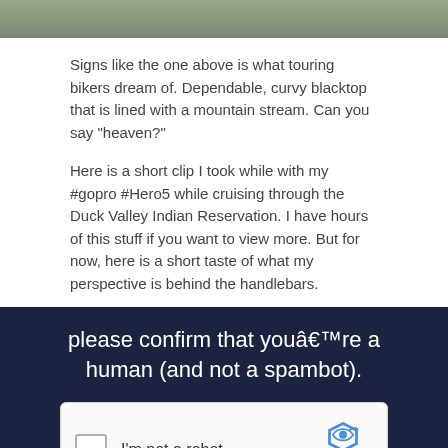[Figure (photo): Top portion of a road/landscape image, partially cropped]
Signs like the one above is what touring bikers dream of. Dependable, curvy blacktop that is lined with a mountain stream. Can you say “heaven?”
Here is a short clip I took while with my #gopro #Hero5 while cruising through the Duck Valley Indian Reservation. I have hours of this stuff if you want to view more. But for now, here is a short taste of what my perspective is behind the handlebars.
[Figure (screenshot): Dark blue overlay with reCAPTCHA widget saying 'please confirm that youâ€™re a human (and not a spambot).' with checkbox 'I'm not a robot' and reCAPTCHA branding, plus partial YouTube logo at bottom and red scroll button]